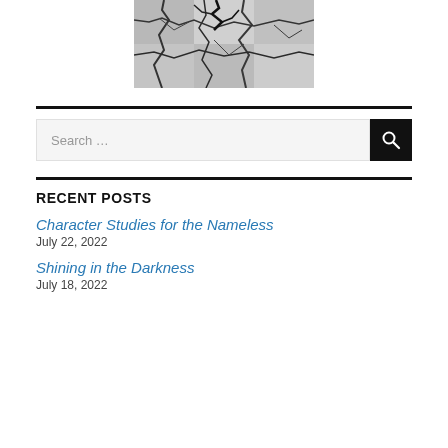[Figure (photo): Black and white photo of cracked dry earth or stone texture]
Search …
RECENT POSTS
Character Studies for the Nameless
July 22, 2022
Shining in the Darkness
July 18, 2022